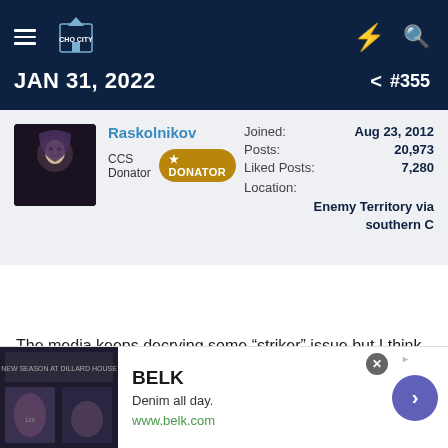JAN 31, 2022  #355
[Figure (screenshot): User profile card for Raskolnikov, CCS Donator badge, joined Aug 23 2012, Posts 20973, Liked Posts 7280, Location Enemy Territory via southern C]
The media keeps decrying some “striker” issue but I think Timothe Weah is sensational.
Give me
[Figure (other): Advertisement banner for BELK - Denim all day. www.belk.com]